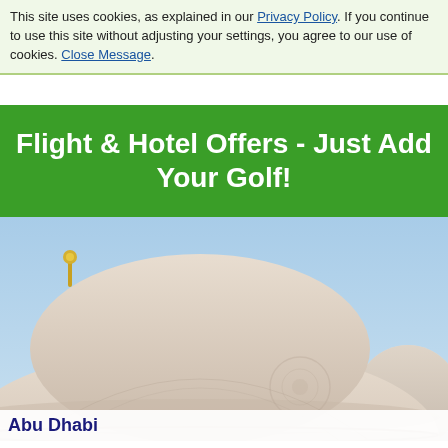This site uses cookies, as explained in our Privacy Policy. If you continue to use this site without adjusting your settings, you agree to our use of cookies. Close Message.
Flight & Hotel Offers - Just Add Your Golf!
[Figure (photo): Photo of white mosque domes with gold finials against a blue sky, Abu Dhabi]
Abu Dhabi